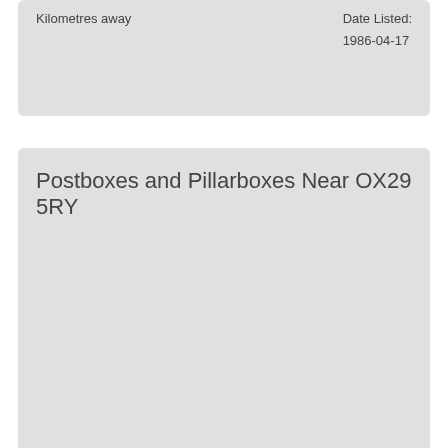Kilometres away
Date Listed: 1986-04-17
Postboxes and Pillarboxes Near OX29 5RY